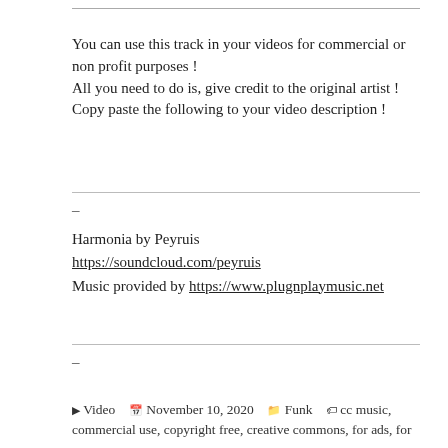You can use this track in your videos for commercial or non profit purposes !
All you need to do is, give credit to the original artist !
Copy paste the following to your video description !
–
Harmonia by Peyruis
https://soundcloud.com/peyruis
Music provided by https://www.plugnplaymusic.net
–
▶ Video  📅 November 10, 2020  🗂 Funk  🏷 cc music, commercial use, copyright free, creative commons, for ads, for